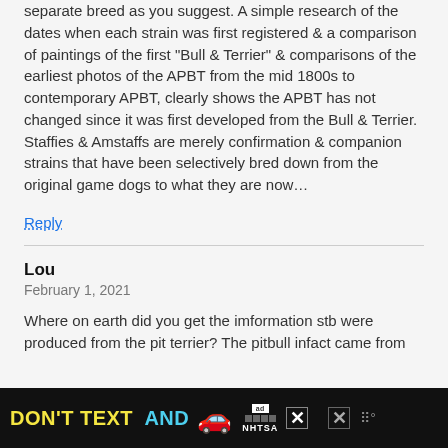separate breed as you suggest. A simple research of the dates when each strain was first registered & a comparison of paintings of the first “Bull & Terrier” & comparisons of the earliest photos of the APBT from the mid 1800s to contemporary APBT, clearly shows the APBT has not changed since it was first developed from the Bull & Terrier. Staffies & Amstaffs are merely confirmation & companion strains that have been selectively bred down from the original game dogs to what they are now…
Reply
Lou
February 1, 2021
Where on earth did you get the imformation stb were produced from the pit terrier? The pitbull infact came from
[Figure (other): Advertisement banner: DON'T TEXT AND [car emoji] with ad badge and NHTSA logo on black background, with close buttons]